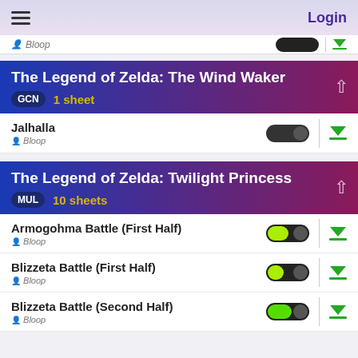Login
Bloop
The Legend of Zelda: The Wind Waker — GCN 1 sheet
Jalhalla — Bloop
The Legend of Zelda: Twilight Princess — MUL 10 sheets
Armogohma Battle (First Half) — Bloop
Blizzeta Battle (First Half) — Bloop
Blizzeta Battle (Second Half) — Bloop